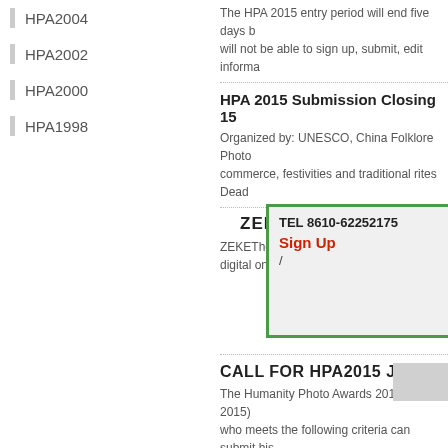HPA2004
HPA2002
HPA2000
HPA1998
The HPA 2015 entry period will end five days b will not be able to sign up, submit, edit informa
HPA 2015 Submission Closing 15
Organized by: UNESCO, China Folklore Photo commerce, festivities and traditional rites Dead
ZEKE
ZEKEThe Ma ss publ digital only.ZE explore
[Figure (screenshot): Popup overlay box with TEL 8610-62252175, Sign Up link in red, and slash character, with green border on gray background]
CALL FOR HPA2015 JUDG
The Humanity Photo Awards 2015 (HPA 2015) who meets the following criteria can submit his
Some Explanations on HPA201